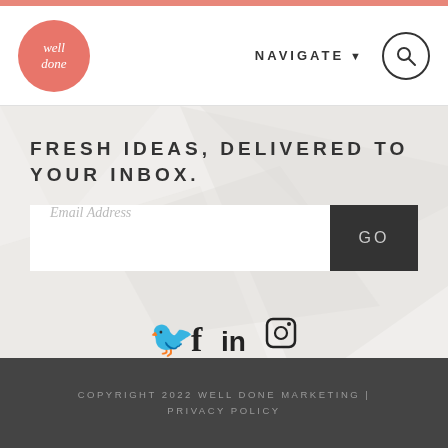well done — NAVIGATE
FRESH IDEAS, DELIVERED TO YOUR INBOX.
Email Address [GO button]
[Figure (logo): Social media icons: Twitter, Facebook, LinkedIn, Instagram]
COPYRIGHT 2022 WELL DONE MARKETING | PRIVACY POLICY